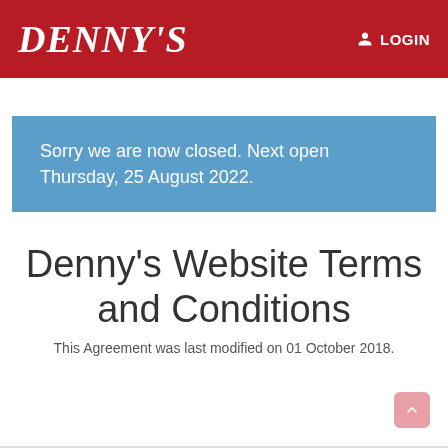DENNY'S   LOGIN
Sorry we are now closed. Next open Thursday, 25 August 2022.
Denny's Website Terms and Conditions
This Agreement was last modified on 01 October 2018.